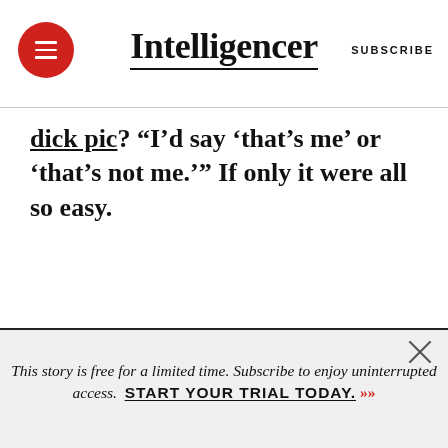Intelligencer | SUBSCRIBE
dick pic? “I’d say ‘that’s me’ or ‘that’s not me.’” If only it were all so easy.
This story is free for a limited time. Subscribe to enjoy uninterrupted access. START YOUR TRIAL TODAY. »»